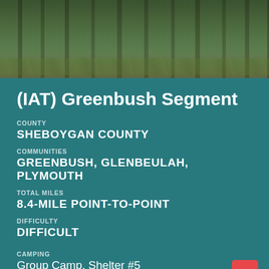[Figure (photo): Forest scene with tall tree trunks and green foliage, leaves on forest floor]
(IAT) Greenbush Segment
COUNTY
SHEBOYGAN COUNTY
COMMUNITIES
GREENBUSH, GLENBEULAH, PLYMOUTH
TOTAL MILES
8.4-MILE POINT-TO-POINT
DIFFICULTY
DIFFICULT
CAMPING
Group Camp, Shelter #5
ARTICLE (WISCONSIN-EXPLORER)